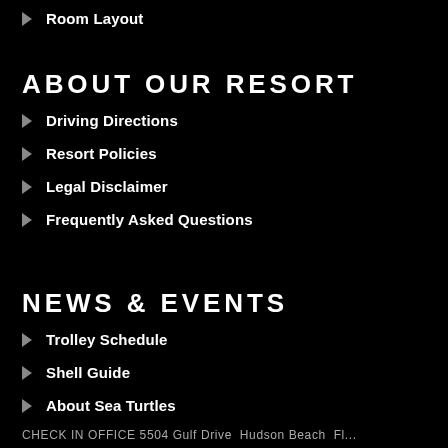Room Layout
ABOUT OUR RESORT
Driving Directions
Resort Policies
Legal Disclaimer
Frequently Asked Questions
NEWS & EVENTS
Trolley Schedule
Shell Guide
About Sea Turtles
Florida Vacation Tips
CHECK IN OFFICE 5504 Gulf Drive Hudson Beach Fl...